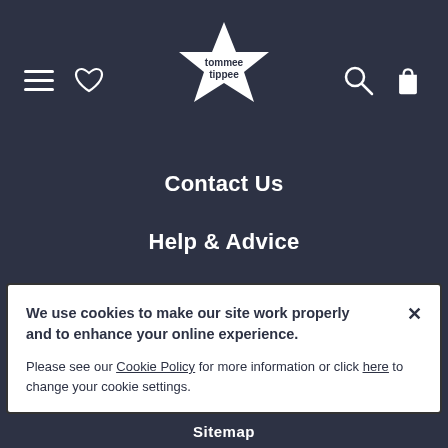[Figure (logo): Tommee Tippee star-shaped logo in white on dark background, with text 'tommee tippee' inside]
Contact Us
Help & Advice
Product Support
Delivery
We use cookies to make our site work properly and to enhance your online experience. Please see our Cookie Policy for more information or click here to change your cookie settings.
Sitemap